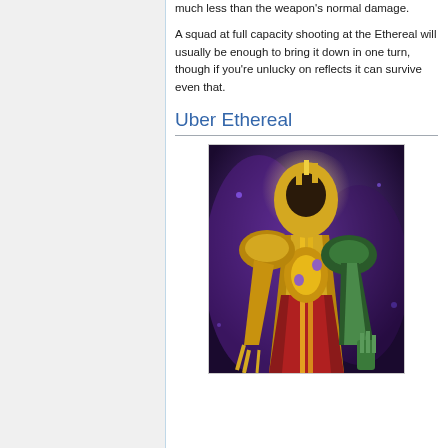much less than the weapon's normal damage.
A squad at full capacity shooting at the Ethereal will usually be enough to bring it down in one turn, though if you're unlucky on reflects it can survive even that.
Uber Ethereal
[Figure (illustration): Game artwork showing Uber Ethereal character — a large armored alien figure with golden/bronze armor, green accents, and a stylized helmet, set against a purple cosmic background.]